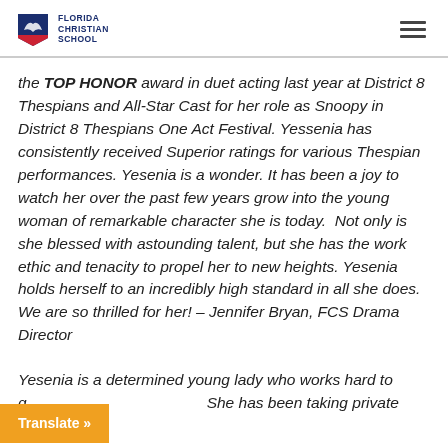Florida Christian School
the TOP HONOR award in duet acting last year at District 8 Thespians and All-Star Cast for her role as Snoopy in District 8 Thespians One Act Festival. Yessenia has consistently received Superior ratings for various Thespian performances. Yesenia is a wonder. It has been a joy to watch her over the past few years grow into the young woman of remarkable character she is today.  Not only is she blessed with astounding talent, but she has the work ethic and tenacity to propel her to new heights. Yesenia holds herself to an incredibly high standard in all she does. We are so thrilled for her! – Jennifer Bryan, FCS Drama Director
Yesenia is a determined young lady who works hard to g... She has been taking private voice to